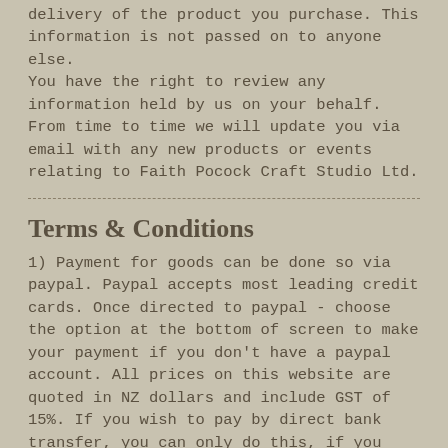delivery of the product you purchase. This information is not passed on to anyone else.
You have the right to review any information held by us on your behalf. From time to time we will update you via email with any new products or events relating to Faith Pocock Craft Studio Ltd.
Terms & Conditions
1) Payment for goods can be done so via paypal. Paypal accepts most leading credit cards. Once directed to paypal - choose the option at the bottom of screen to make your payment if you don't have a paypal account. All prices on this website are quoted in NZ dollars and include GST of 15%. If you wish to pay by direct bank transfer, you can only do this, if you copy